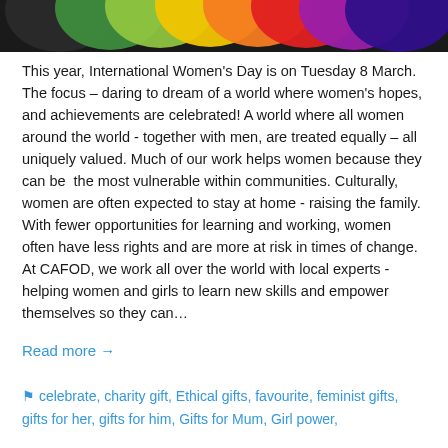[Figure (illustration): Colorful overlapping circles in rainbow colors (dark, green, yellow-green, yellow, orange, red, purple, dark blue) forming a decorative banner at the top of the page.]
This year, International Women's Day is on Tuesday 8 March. The focus – daring to dream of a world where women's hopes, and achievements are celebrated! A world where all women around the world - together with men, are treated equally – all uniquely valued. Much of our work helps women because they can be  the most vulnerable within communities. Culturally, women are often expected to stay at home - raising the family. With fewer opportunities for learning and working, women often have less rights and are more at risk in times of change. At CAFOD, we work all over the world with local experts - helping women and girls to learn new skills and empower themselves so they can...
Read more →
🏷 celebrate, charity gift, Ethical gifts, favourite, feminist gifts, gifts for her, gifts for him, Gifts for Mum, Girl power,